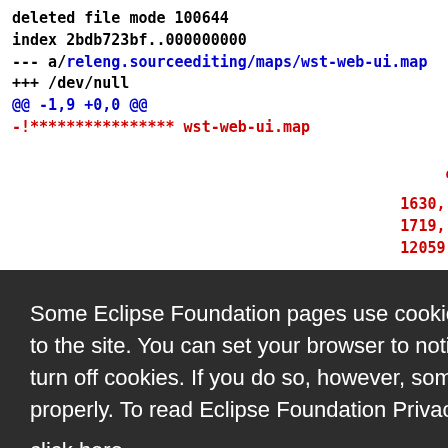deleted file mode 100644
index 2bdb723bf..000000000
--- a/releng.sourceediting/maps/wst-web-ui.map
+++ /dev/null
@@ -1,9 +0,0 @@
-!**************** wst-web-ui.map
Some Eclipse Foundation pages use cookies to better serve you when you return to the site. You can set your browser to notify you before you receive a cookie or turn off cookies. If you do so, however, some areas of some sites may not function properly. To read Eclipse Foundation Privacy Policy click here.
Decline | Allow cookies